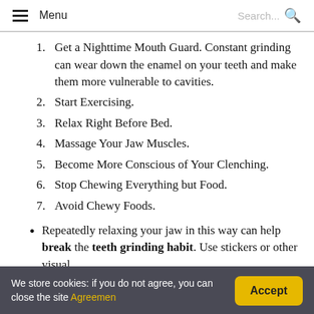Menu | Search...
Get a Nighttime Mouth Guard. Constant grinding can wear down the enamel on your teeth and make them more vulnerable to cavities.
Start Exercising.
Relax Right Before Bed.
Massage Your Jaw Muscles.
Become More Conscious of Your Clenching.
Stop Chewing Everything but Food.
Avoid Chewy Foods.
Repeatedly relaxing your jaw in this way can help break the teeth grinding habit. Use stickers or other visual
We store cookies: if you do not agree, you can close the site Agreement